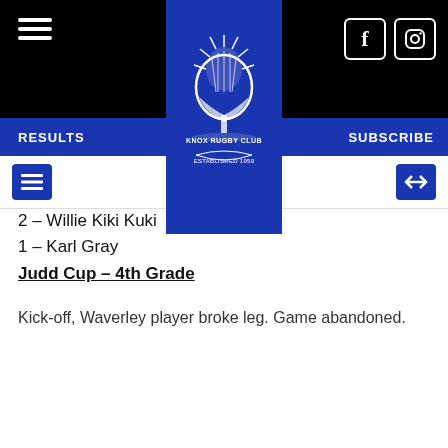Knox Rugby Club — Established 1959
[Figure (logo): Knox Rugby Club crest/logo — thistle emblem with banner reading KNOX RUGBY CLUB ESTABLISHED 1959 on blue background]
2 – Willie Kiki Kuki
1 – Karl Gray
Judd Cup – 4th Grade
Kick-off, Waverley player broke leg. Game abandoned.